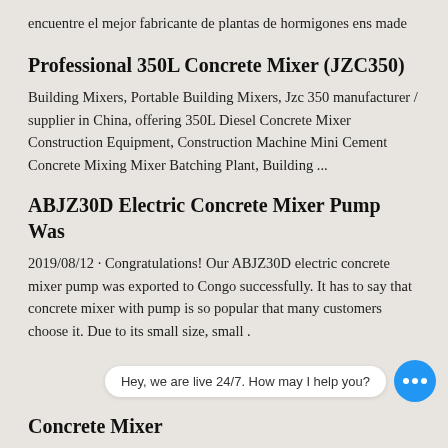encuentre el mejor fabricante de plantas de hormigones ens made
Professional 350L Concrete Mixer (JZC350)
Building Mixers, Portable Building Mixers, Jzc 350 manufacturer / supplier in China, offering 350L Diesel Concrete Mixer Construction Equipment, Construction Machine Mini Cement Concrete Mixing Mixer Batching Plant, Building ...
ABJZ30D Electric Concrete Mixer Pump Was
2019/08/12 · Congratulations! Our ABJZ30D electric concrete mixer pump was exported to Congo successfully. It has to say that concrete mixer with pump is so popular that many customers choose it. Due to its small size, small .
Hey, we are live 24/7. How may I help you?
Concrete Mixer